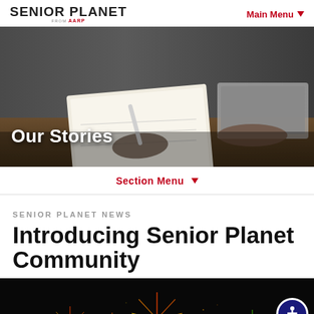SENIOR PLANET FROM AARP | Main Menu
[Figure (photo): Person writing in notebook at desk with laptop in background, hero image with 'Our Stories' text overlay]
Section Menu ▼
SENIOR PLANET NEWS
Introducing Senior Planet Community
[Figure (photo): Dark background with colorful fireworks at bottom of image]